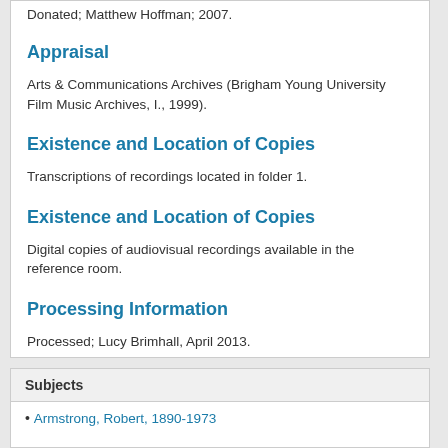Donated; Matthew Hoffman; 2007.
Appraisal
Arts & Communications Archives (Brigham Young University Film Music Archives, I., 1999).
Existence and Location of Copies
Transcriptions of recordings located in folder 1.
Existence and Location of Copies
Digital copies of audiovisual recordings available in the reference room.
Processing Information
Processed; Lucy Brimhall, April 2013.
Subjects
Armstrong, Robert, 1890-1973